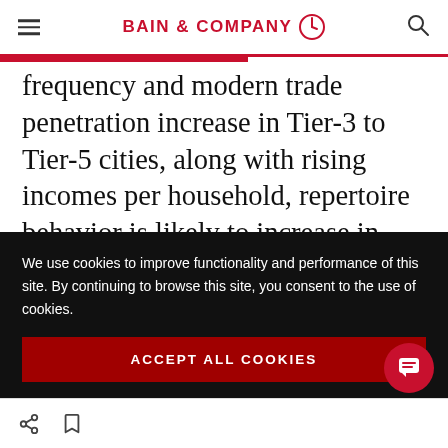BAIN & COMPANY
frequency and modern trade penetration increase in Tier-3 to Tier-5 cities, along with rising incomes per household, repertoire behavior is likely to increase in these areas—and successful companies will be those that prepare for the increase in repertoire behavior.
We use cookies to improve functionality and performance of this site. By continuing to browse this site, you consent to the use of cookies.
ACCEPT ALL COOKIES